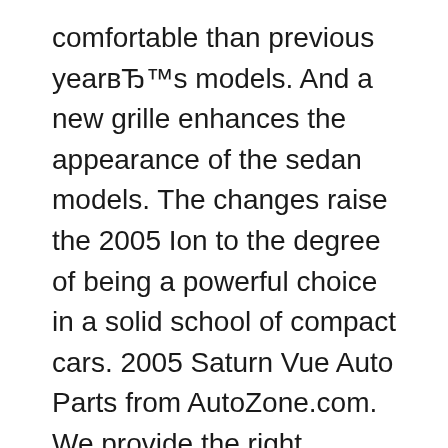comfortable than previous year’s models. And a new grille enhances the appearance of the sedan models. The changes raise the 2005 Ion to the degree of being a powerful choice in a solid school of compact cars. 2005 Saturn Vue Auto Parts from AutoZone.com. We provide the right products at the right prices.
Saturn Vue 2007 Workshop Service Repair Manual. Saturn Vue 2002-2004-2005-2006 Factory Service Repair Manual Complete download comes in PDF format which can work under all PC based Windows operating system and Mac also. It saves to your hard-drive вЂ¦ How to find your Saturn Workshop or Owners Manual. We have 86 free PDFвЂ™s spread across